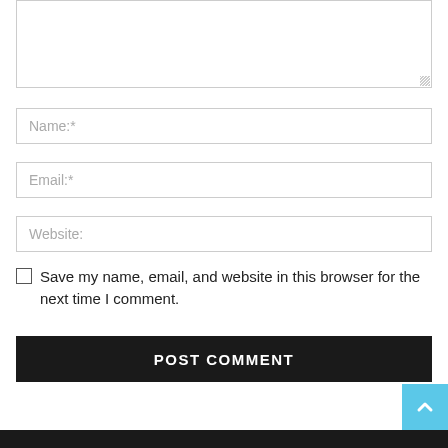[Figure (screenshot): Textarea input box (comment field), partially visible at top of page with resize handle]
Name:*
Email:*
Website:
Save my name, email, and website in this browser for the next time I comment.
POST COMMENT
[Figure (other): Light blue scroll-to-top button with upward chevron arrow in bottom right corner]